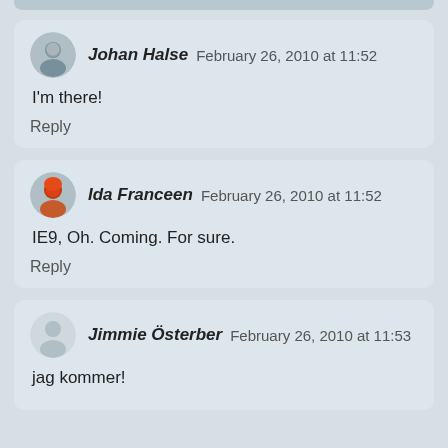Johan Halse  February 26, 2010 at 11:52
I'm there!
Reply
Ida Franceen  February 26, 2010 at 11:52
IE9, Oh. Coming. For sure.
Reply
Jimmie Österber  February 26, 2010 at 11:53
jag kommer!